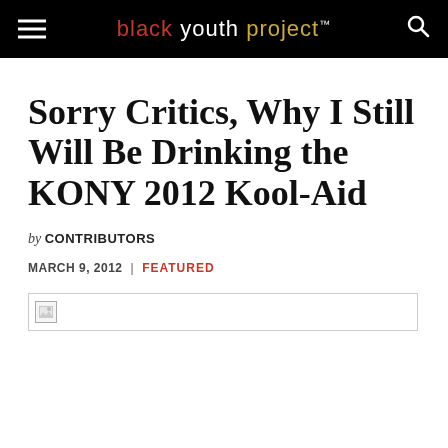black youth project™
Sorry Critics, Why I Still Will Be Drinking the KONY 2012 Kool-Aid
by CONTRIBUTORS
MARCH 9, 2012 | FEATURED
[Figure (photo): Broken/missing image placeholder]